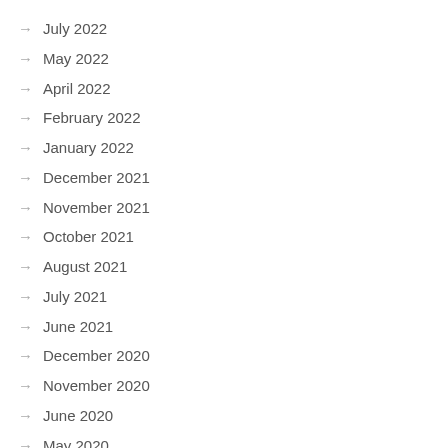July 2022
May 2022
April 2022
February 2022
January 2022
December 2021
November 2021
October 2021
August 2021
July 2021
June 2021
December 2020
November 2020
June 2020
May 2020
March 2020
January 2020